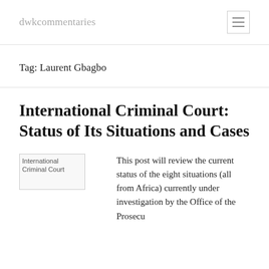dwkcommentaries
Tag: Laurent Gbagbo
International Criminal Court: Status of Its Situations and Cases
[Figure (photo): Broken image placeholder labeled 'International Criminal Court']
This post will review the current status of the eight situations (all from Africa) currently under investigation by the Office of the Prosecutor